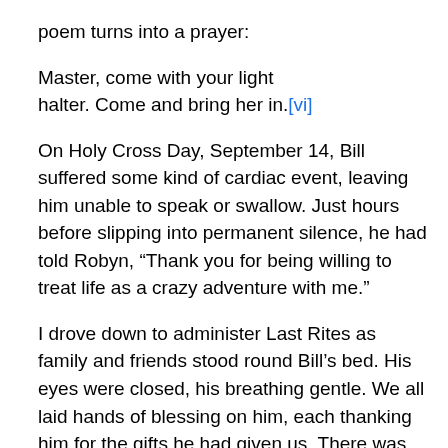poem turns into a prayer:
Master, come with your light
halter. Come and bring her in.[vi]
On Holy Cross Day, September 14, Bill suffered some kind of cardiac event, leaving him unable to speak or swallow. Just hours before slipping into permanent silence, he had told Robyn, “Thank you for being willing to treat life as a crazy adventure with me.”
I drove down to administer Last Rites as family and friends stood round Bill’s bed. His eyes were closed, his breathing gentle. We all laid hands of blessing on him, each thanking him for the gifts he had given us. There was no way to tell whether he could hear our words, but so much spoken gratitude surely bathed him with love, and the sense of